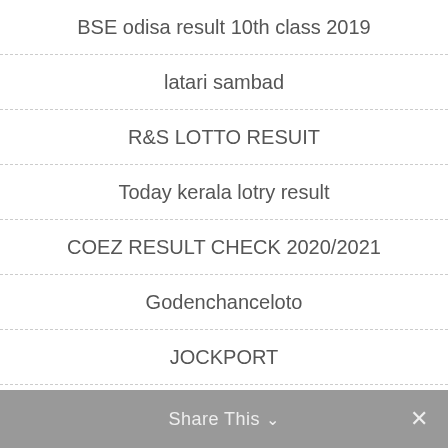BSE odisa result 10th class 2019
latari sambad
R&S LOTTO RESUIT
Today kerala lotry result
COEZ RESULT CHECK 2020/2021
Godenchanceloto
JOCKPORT
arunachal new thangam lottery result
Share This ∨  ✕